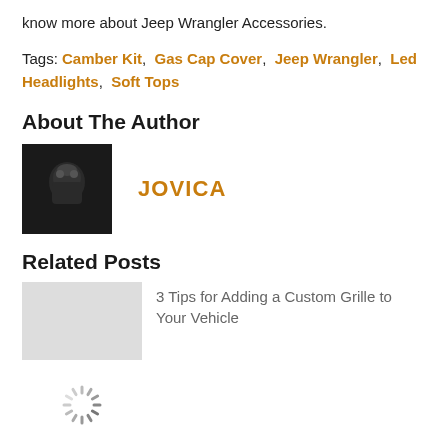know more about Jeep Wrangler Accessories.
Tags: Camber Kit, Gas Cap Cover, Jeep Wrangler, Led Headlights, Soft Tops
About The Author
[Figure (photo): Author profile photo showing a person with a dark helmet/mask against a dark background]
JOVICA
Related Posts
3 Tips for Adding a Custom Grille to Your Vehicle
[Figure (other): Loading spinner icon]
Why Do My Car Audio Woofers